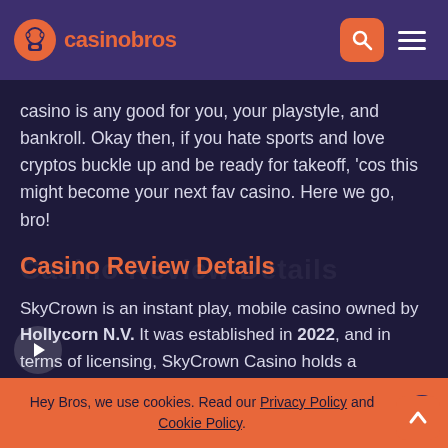casinobros
casino is any good for you, your playstyle, and bankroll. Okay then, if you hate sports and love cryptos buckle up and be ready for takeoff, ‘cos this might become your next fav casino. Here we go, bro!
Casino Review Details
SkyCrown is an instant play, mobile casino owned by Hollycorn N.V. It was established in 2022, and in terms of licensing, SkyCrown Casino holds a Curacao gambling license. Though not as strong as the MGA license, SkyCrown is still a legit casino that offers fair games, alongside money and data protection.
Hey Bros, we use cookies. Read our Privacy Policy and Cookie Policy.